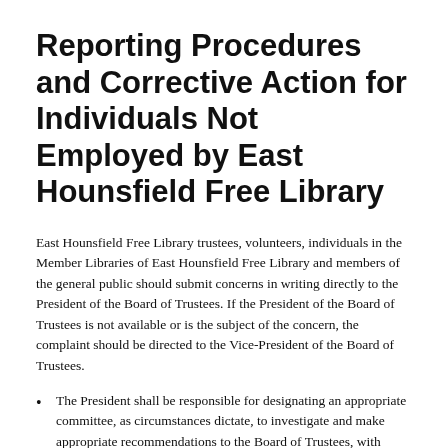Reporting Procedures and Corrective Action for Individuals Not Employed by East Hounsfield Free Library
East Hounsfield Free Library trustees, volunteers, individuals in the Member Libraries of East Hounsfield Free Library and members of the general public should submit concerns in writing directly to the President of the Board of Trustees. If the President of the Board of Trustees is not available or is the subject of the concern, the complaint should be directed to the Vice-President of the Board of Trustees.
The President shall be responsible for designating an appropriate committee, as circumstances dictate, to investigate and make appropriate recommendations to the Board of Trustees, with respect to all concerns received in